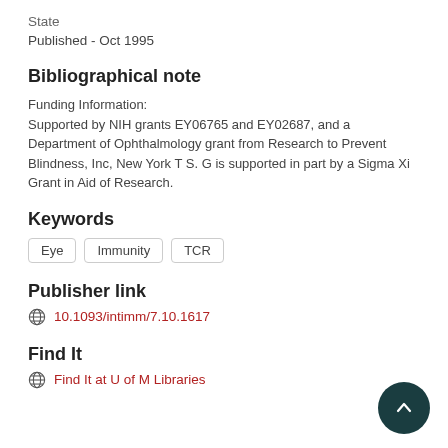State
Published - Oct 1995
Bibliographical note
Funding Information:
Supported by NIH grants EY06765 and EY02687, and a Department of Ophthalmology grant from Research to Prevent Blindness, Inc, New York T S. G is supported in part by a Sigma Xi Grant in Aid of Research.
Keywords
Eye
Immunity
TCR
Publisher link
10.1093/intimm/7.10.1617
Find It
Find It at U of M Libraries